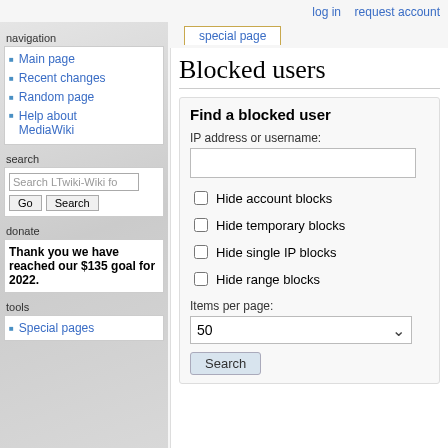log in   request account
special page
Blocked users
navigation
Main page
Recent changes
Random page
Help about MediaWiki
search
Search LTwiki-Wiki f
donate
Thank you we have reached our $135 goal for 2022.
tools
Special pages
Find a blocked user
IP address or username:
Hide account blocks
Hide temporary blocks
Hide single IP blocks
Hide range blocks
Items per page:
50